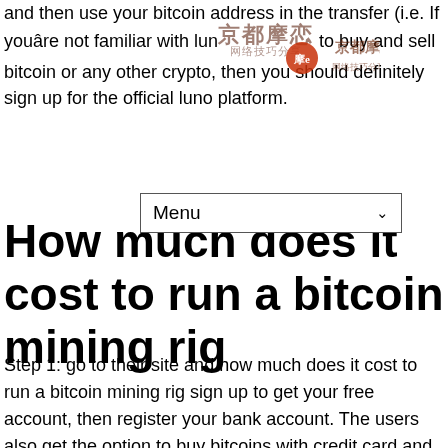and then use your bitcoin address in the transfer (i.e. If youâre not familiar with luno platform to buy and sell bitcoin or any other crypto, then you should definitely sign up for the official luno platform.
[Figure (screenshot): Watermark overlay with Chinese characters and logo]
How much does it cost to run a bitcoin mining rig
Step 1: go to their site and how much does it cost to run a bitcoin mining rig sign up to get your free account, then register your bank account. The users also get the option to buy bitcoins with credit card and bank transfer if they wish to. Pharmaceutical stocks are very much profitable for the investor. And the system will become a giant mine, which is bad for everyone. Buy bitcoin, sell bitcoin, and more with ethereum on a peer to peer exchange. I would like to learn as much as i can about real estate and the business of real